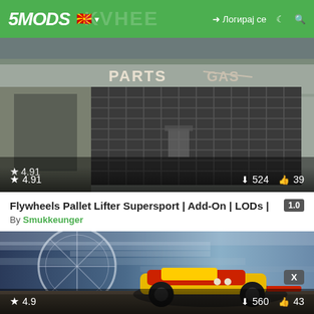5MODS navigation bar with logo, Macedonian flag, login button (Логирај се), dark mode icon, search icon
[Figure (screenshot): Game screenshot showing a garage storefront with 'PARTS GAS RENTALS' signage, metal gate, grungy wall, street furniture]
Flywheels Pallet Lifter Supersport | Add-On | LODs | 1.0
By Smukkeunger
[Figure (screenshot): Game screenshot showing a yellow and red open-wheel racing car speeding past a Ferris wheel with motion blur sky; X badge; rating 4.9, 560 downloads, 43 likes]